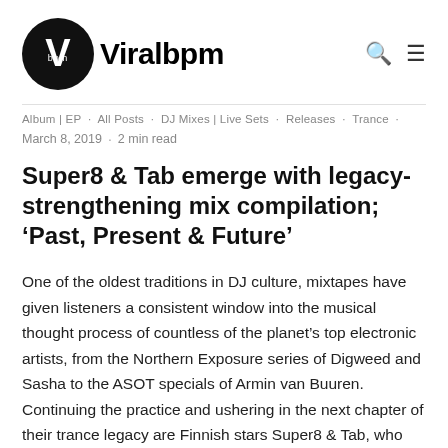Viralbpm
Album | EP · All Posts · DJ Mixes | Live Sets · Releases · Trance ·
March 8, 2019 · 2 min read
Super8 & Tab emerge with legacy-strengthening mix compilation; 'Past, Present & Future'
One of the oldest traditions in DJ culture, mixtapes have given listeners a consistent window into the musical thought process of countless of the planet's top electronic artists, from the Northern Exposure series of Digweed and Sasha to the ASOT specials of Armin van Buuren. Continuing the practice and ushering in the next chapter of their trance legacy are Finnish stars Super8 & Tab, who release their new compilation album today: 'Past, Present & Future'